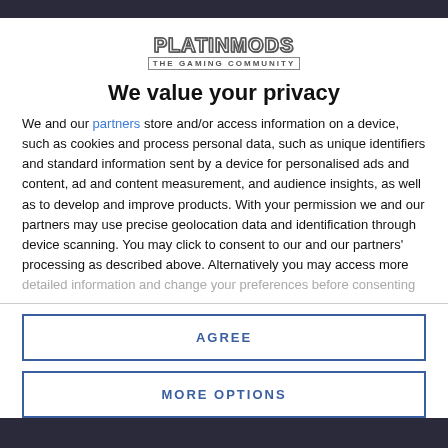[Figure (logo): PLATINMODS THE GAMING COMMUNITY logo]
We value your privacy
We and our partners store and/or access information on a device, such as cookies and process personal data, such as unique identifiers and standard information sent by a device for personalised ads and content, ad and content measurement, and audience insights, as well as to develop and improve products. With your permission we and our partners may use precise geolocation data and identification through device scanning. You may click to consent to our and our partners' processing as described above. Alternatively you may access more detailed information and change your preferences before consenting
AGREE
MORE OPTIONS